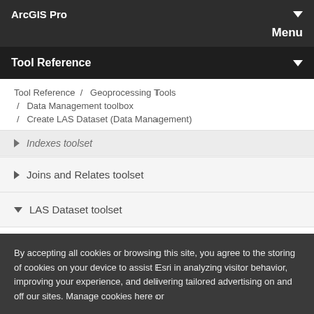ArcGIS Pro
Menu
Tool Reference
Tool Reference / Geoprocessing Tools / Data Management toolbox / Create LAS Dataset (Data Management)
Indexes toolset
Joins and Relates toolset
LAS Dataset toolset
An overview of the LAS Dataset toolset
By accepting all cookies or browsing this site, you agree to the storing of cookies on your device to assist Esri in analyzing visitor behavior, improving your experience, and delivering tailored advertising on and off our sites. Manage cookies here or